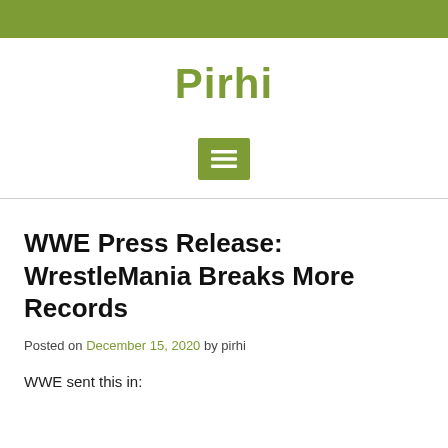Pirhi
WWE Press Release: WrestleMania Breaks More Records
Posted on December 15, 2020 by pirhi
WWE sent this in: